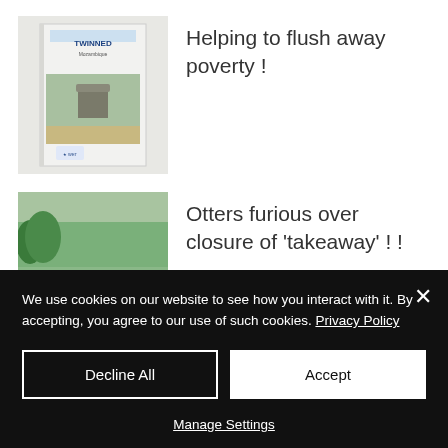[Figure (photo): Thumbnail image of a 'TWINNED' booklet or certificate with an outdoor scene showing a structure in a field]
Helping to flush away poverty !
[Figure (photo): Thumbnail photo of a field with a pond or stream and a fence]
Otters furious over closure of 'takeaway' ! !
We use cookies on our website to see how you interact with it. By accepting, you agree to our use of such cookies. Privacy Policy
Decline All
Accept
Manage Settings